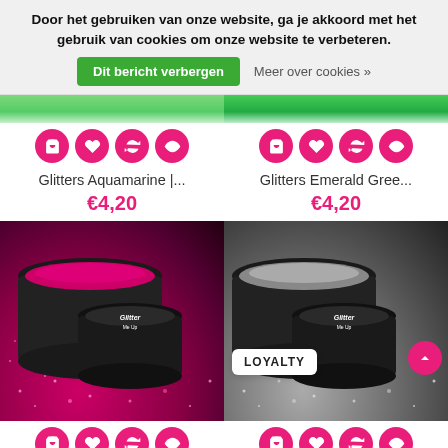Door het gebruiken van onze website, ga je akkoord met het gebruik van cookies om onze website te verbeteren.
Dit bericht verbergen
Meer over cookies »
Glitters Aquamarine |...
€4,20
Glitters Emerald Gree...
€4,20
[Figure (photo): Pink/magenta glitter powder spilling from a cosmetics jar labeled Glitter Me Up]
[Figure (photo): Silver/grey glitter powder in a cosmetics jar labeled Glitter Me Up, with a LOYALTY badge]
LOYALTY